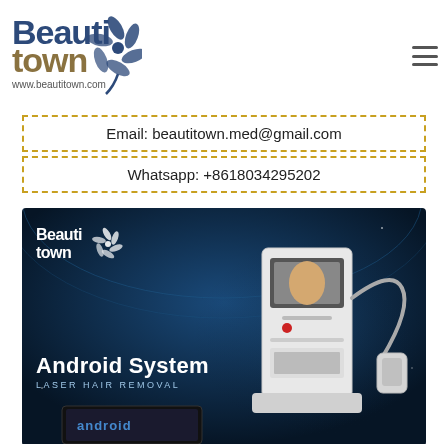[Figure (logo): Beautitown logo with flower/leaf decoration and www.beautitown.com URL]
Email: beautitown.med@gmail.com
Whatsapp: +8618034295202
[Figure (photo): Product advertisement image showing Beautitown brand Android System Laser Hair Removal machine on dark blue starfield background. Machine is white with a screen and handheld applicator. Text reads 'Android System LASER HAIR REMOVAL' and 'android' at bottom.]